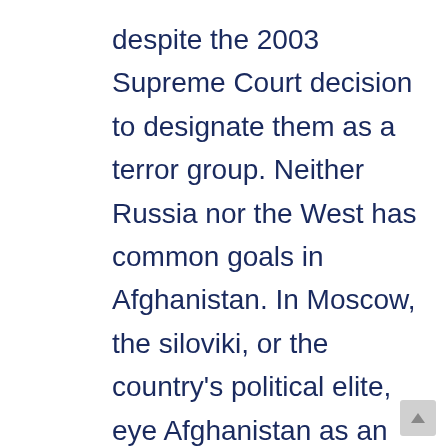despite the 2003 Supreme Court decision to designate them as a terror group. Neither Russia nor the West has common goals in Afghanistan. In Moscow, the siloviki, or the country's political elite, eye Afghanistan as an arena of struggle between Russia and the United States. In particular, top intelligence officials tend to see the country as a U.S. stronghold for the expansion